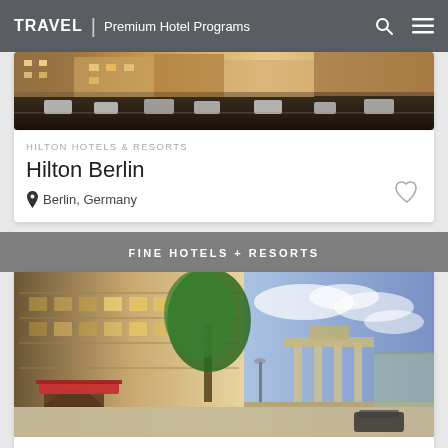TRAVEL | Premium Hotel Programs
[Figure (screenshot): Aerial view of Berlin street with parked cars and buildings]
HILTON HOTELS & RESORTS
Hilton Berlin
Berlin, Germany
FINE HOTELS + RESORTS
[Figure (photo): Kempinski hotel facade with classical architecture, red awning, and Brandenburg Gate visible in background at dusk]
KEMPINSKI HOTELS